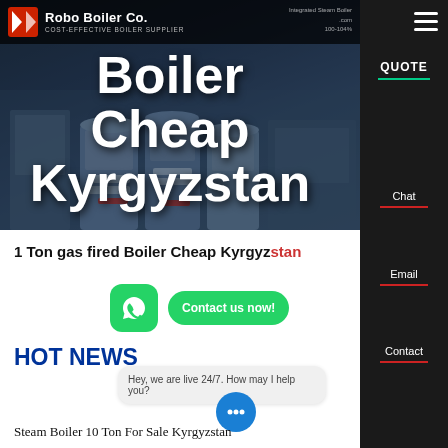[Figure (screenshot): Hero banner of a boiler supplier website showing industrial boilers in the background with a dark overlay]
Robo Boiler Co. – COST-EFFECTIVE BOILER SUPPLIER
Boiler Cheap Kyrgyzstan
1 Ton gas fired Boiler Cheap Kyrgyzstan
HOT NEWS
Hey, we are live 24/7. How may I help you?
Steam Boiler 10 Ton For Sale Kyrgyzstan
Contact us now!
Chat
Email
Contact
QUOTE